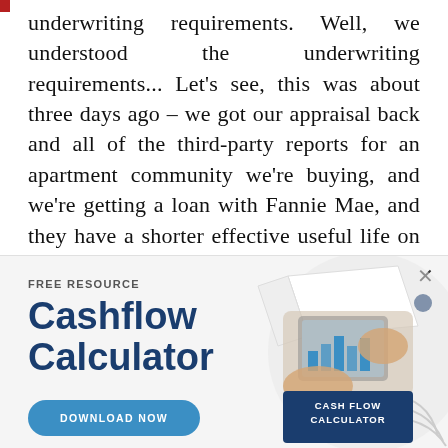underwriting requirements. Well, we understood the underwriting requirements... Let's see, this was about three days ago – we got our appraisal back and all of the third-party reports for an apartment community we're buying, and we're getting a loan with Fannie Mae, and they have a shorter effective useful life on certain cap-ex items, meaning that those items have to be replaced more
[Figure (infographic): Advertisement banner for a free resource: Cashflow Calculator. Left side shows 'FREE RESOURCE' label, bold navy 'Cashflow Calculator' title, and a teal 'DOWNLOAD NOW' button. Right side shows a photo of hands using a tablet/calculator with a dark navy card reading 'CASH FLOW CALCULATOR'. A close X and blue dot appear in the upper right.]